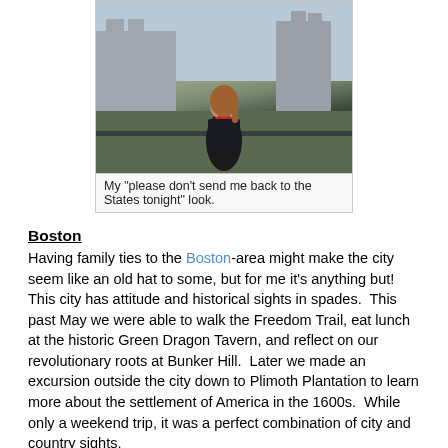[Figure (photo): Woman standing in front of a castle/fort, wearing a black jacket and red scarf, outdoors with stone towers visible in background]
My "please don't send me back to the States tonight" look.
Boston
Having family ties to the Boston-area might make the city seem like an old hat to some, but for me it's anything but!  This city has attitude and historical sights in spades.  This past May we were able to walk the Freedom Trail, eat lunch at the historic Green Dragon Tavern, and reflect on our revolutionary roots at Bunker Hill.  Later we made an excursion outside the city down to Plimoth Plantation to learn more about the settlement of America in the 1600s.  While only a weekend trip, it was a perfect combination of city and country sights.
Visiting both cities and countryside on your travels not only gives you the best of both worlds, but provides you with a more well-